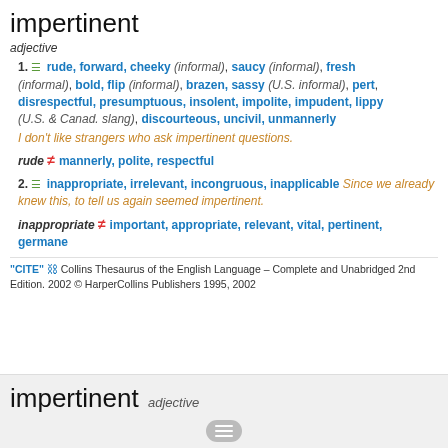impertinent
adjective
1. rude, forward, cheeky (informal), saucy (informal), fresh (informal), bold, flip (informal), brazen, sassy (U.S. informal), pert, disrespectful, presumptuous, insolent, impolite, impudent, lippy (U.S. & Canad. slang), discourteous, uncivil, unmannerly I don't like strangers who ask impertinent questions.
rude ≠ mannerly, polite, respectful
2. inappropriate, irrelevant, incongruous, inapplicable Since we already knew this, to tell us again seemed impertinent.
inappropriate ≠ important, appropriate, relevant, vital, pertinent, germane
"CITE" Collins Thesaurus of the English Language – Complete and Unabridged 2nd Edition. 2002 © HarperCollins Publishers 1995, 2002
impertinent adjective